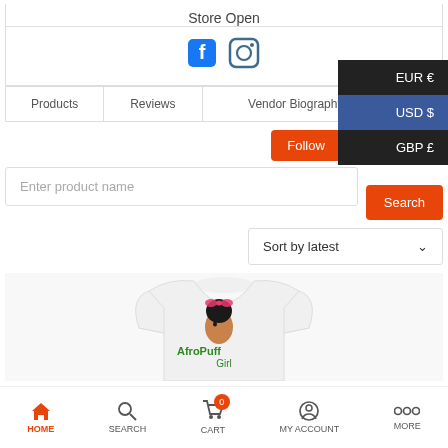Store Open
[Figure (screenshot): Social media icons: Facebook and Instagram]
[Figure (screenshot): Currency dropdown showing EUR €, USD $, GBP £]
Products | Reviews | Vendor Biography | Sh...
Follow   Get Support
Enter product name
Search
Sort by latest
[Figure (photo): White t-shirt with AfroPuff graphic design showing a girl with afro puff hairstyle and pink bow, text reads AfroPuff Girl]
HOME   SEARCH   CART   MY ACCOUNT   MORE